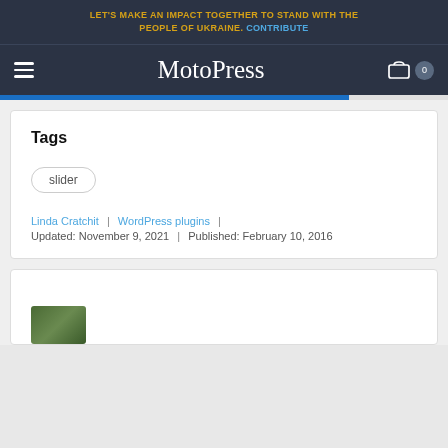LET'S MAKE AN IMPACT TOGETHER TO STAND WITH THE PEOPLE OF UKRAINE. CONTRIBUTE
MotoPress
Tags
slider
Linda Cratchit | WordPress plugins | Updated: November 9, 2021 | Published: February 10, 2016